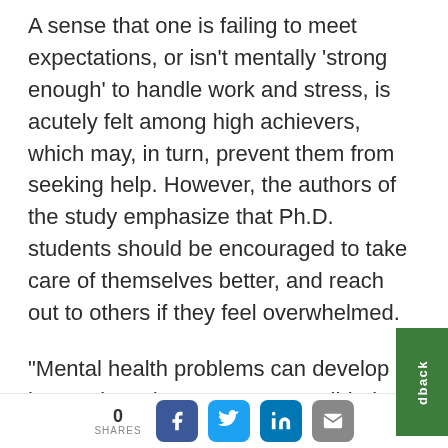A sense that one is failing to meet expectations, or isn't mentally 'strong enough' to handle work and stress, is acutely felt among high achievers, which may, in turn, prevent them from seeking help. However, the authors of the study emphasize that Ph.D. students should be encouraged to take care of themselves better, and reach out to others if they feel overwhelmed.
“Mental health problems can develop into serious threats to one’s well-being and career, and can have detrimental consequences in the long term,” says Katia Levecque, co-author o...
0 SHARES